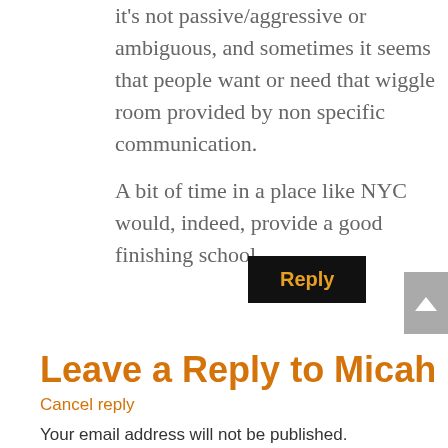it's not passive/aggressive or ambiguous, and sometimes it seems that people want or need that wiggle room provided by non specific communication.
A bit of time in a place like NYC would, indeed, provide a good finishing school.
Reply
Leave a Reply to Micah
Cancel reply
Your email address will not be published.